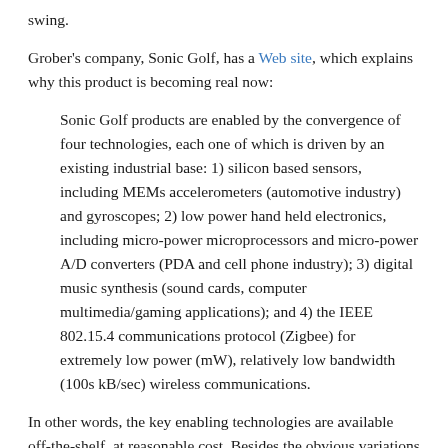swing.
Grober's company, Sonic Golf, has a Web site, which explains why this product is becoming real now:
Sonic Golf products are enabled by the convergence of four technologies, each one of which is driven by an existing industrial base: 1) silicon based sensors, including MEMs accelerometers (automotive industry) and gyroscopes; 2) low power hand held electronics, including micro-power microprocessors and micro-power A/D converters (PDA and cell phone industry); 3) digital music synthesis (sound cards, computer multimedia/gaming applications); and 4) the IEEE 802.15.4 communications protocol (Zigbee) for extremely low power (mW), relatively low bandwidth (100s kB/sec) wireless communications.
In other words, the key enabling technologies are available off-the-shelf, at reasonable cost. Besides the obvious variations on Sonic Golf for other sports, how else might these technologies be